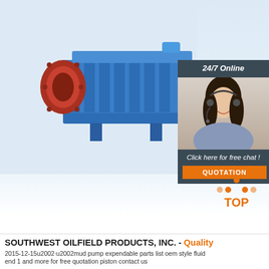[Figure (photo): Blue industrial mud pump / multistage centrifugal pump with red flanged inlet, mounted on base, against light blue background]
[Figure (photo): Customer service agent panel: dark gray background with '24/7 Online' text, photo of smiling woman with headset, 'Click here for free chat!' text, and orange QUOTATION button]
[Figure (logo): TOP logo with orange triangular dots arranged in triangle pattern above the text 'TOP' in orange on white background]
SOUTHWEST OILFIELD PRODUCTS, INC. - Quality
2015-12-15u2002·u2002mud pump expendable parts list oem style fluid end 1 and more for free quotation piston contact us